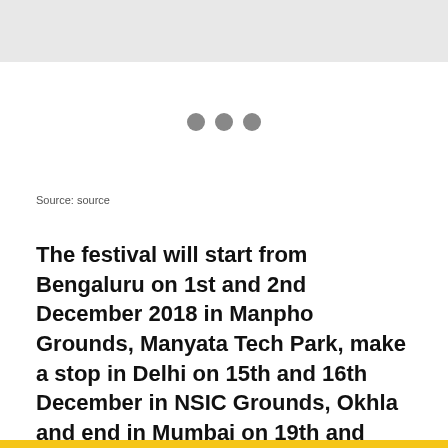[Figure (other): Three grey dots loading indicator centered on white background]
Source: source
The festival will start from Bengaluru on 1st and 2nd December 2018 in Manpho Grounds, Manyata Tech Park, make a stop in Delhi on 15th and 16th December in NSIC Grounds, Okhla and end in Mumbai on 19th and 20th January 2019 in MMRDA Grounds, BKC.